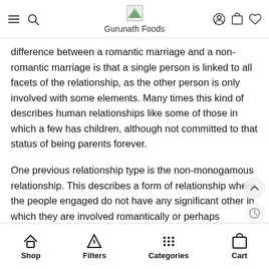Gurunath Foods
difference between a romantic marriage and a non-romantic marriage is that a single person is linked to all facets of the relationship, as the other person is only involved with some elements. Many times this kind of describes human relationships like some of those in which a few has children, although not committed to that status of being parents forever.
One previous relationship type is the non-monogamous relationship. This describes a form of relationship where the people engaged do not have any significant other in which they are involved romantically or perhaps sexually. This relationship is also interpreted as a platonic relationship. Very often this talks about relationships like one that happens when a couple allows themselves up for the purposes of getting sex
Shop  Filters  Categories  Cart